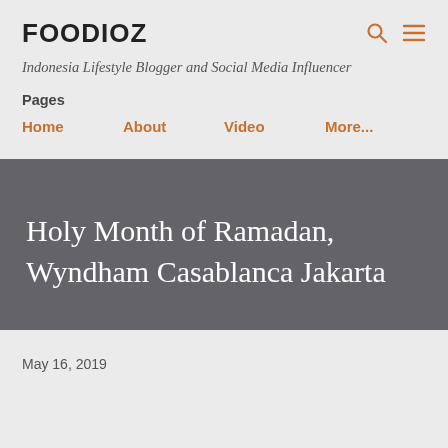FOODIOZ
Indonesia Lifestyle Blogger and Social Media Influencer
Pages
Home
About
Video
More...
Holy Month of Ramadan, Wyndham Casablanca Jakarta
May 16, 2019